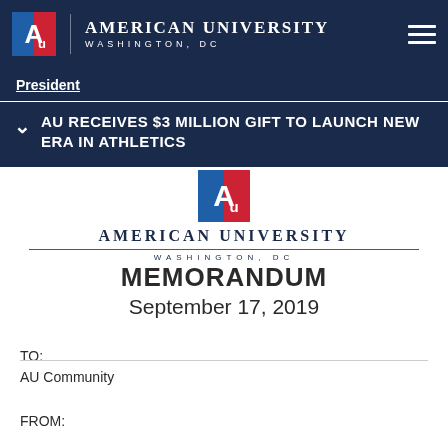[Figure (logo): American University Washington DC logo — top navigation bar with navy background, AU eagle logo, university name, and hamburger menu icon]
President
AU RECEIVES $3 MILLION GIFT TO LAUNCH NEW ERA IN ATHLETICS
[Figure (logo): American University Washington DC centered logo with red divider line]
MEMORANDUM
September 17, 2019
TO:
AU Community
FROM: